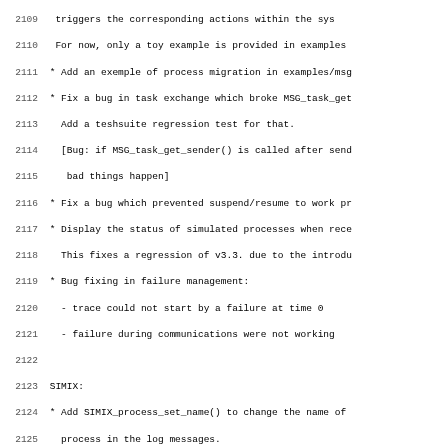Code/changelog listing lines 2109-2141 showing changelog entries for MSG, SIMIX, SIMDAG, and SMPI modules
2109: triggers the corresponding actions within the sys
2110: For now, only a toy example is provided in examples
2111: * Add an exemple of process migration in examples/msg
2112: * Fix a bug in task exchange which broke MSG_task_get
2113: Add a teshsuite regression test for that.
2114: [Bug: if MSG_task_get_sender() is called after send
2115: bad things happen]
2116: * Fix a bug which prevented suspend/resume to work pr
2117: * Display the status of simulated processes when rece
2118: This fixes a regression of v3.3. due to the introdu
2119: * Bug fixing in failure management:
2120: - trace could not start by a failure at time 0
2121: - failure during communications were not working
2122: (blank)
2123: SIMIX:
2124: * Add SIMIX_process_set_name() to change the name of
2125: process in the log messages.
2126: * Store smx_hosts in a dict since we only retrieve th
2127: * Move the configuration infrastructure to surf
2128: (blank)
2129: SIMDAG:
2130: * Move the configuration infrastructure to surf
2131: (blank)
2132: SMPI:
2133: * Massive internal cleanups:
2134: - Store internal structures on processes instead of
2135: to have more than one process per host, in additi
2136: logical)
2137: - Cleanup the initialization/finalization process
2138: - Kill a whole bunch of unneeded synchronization:
2139: processes run in exclusive manner within the simu
2140: - Move queues from global tables to process data fi
2141: * Improve smpirun: